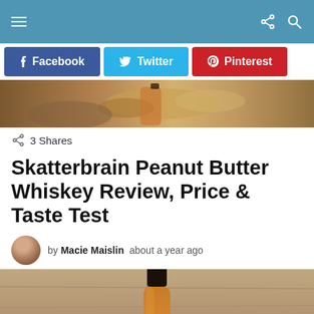Navigation bar with hamburger menu, share icon, search icon
[Figure (other): Social share buttons: Facebook (blue), Twitter (light blue), Pinterest (red)]
[Figure (photo): Hero image showing peanuts and a glass of whiskey on a wooden surface]
3 Shares
Skatterbrain Peanut Butter Whiskey Review, Price & Taste Test
by Macie Maislin  about a year ago
[Figure (photo): Photo of a whiskey bottle next to peanuts on a wooden background]